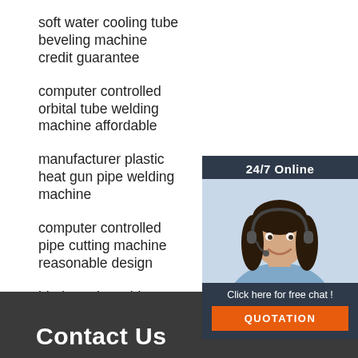soft water cooling tube beveling machine credit guarantee
computer controlled orbital tube welding machine affordable
manufacturer plastic heat gun pipe welding machine
computer controlled pipe cutting machine reasonable design
blade replaceable orbital pipe welding equipment complete style
[Figure (photo): Chat widget with a woman wearing a headset, '24/7 Online' header, 'Click here for free chat!' text, and an orange QUOTATION button]
Contact Us